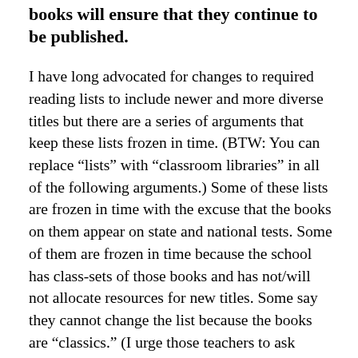books will ensure that they continue to be published.
I have long advocated for changes to required reading lists to include newer and more diverse titles but there are a series of arguments that keep these lists frozen in time. (BTW: You can replace “lists” with “classroom libraries” in all of the following arguments.) Some of these lists are frozen in time with the excuse that the books on them appear on state and national tests. Some of them are frozen in time because the school has class-sets of those books and has not/will not allocate resources for new titles. Some say they cannot change the list because the books are “classics.” (I urge those teachers to ask themselves, classic for whom?) Some think that because their classrooms are filled with majority white students, that their lists are just fine. Some say they just do it